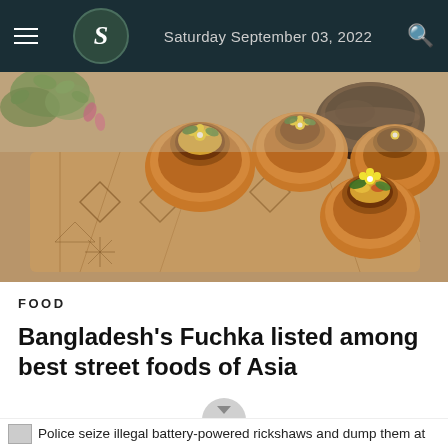Saturday September 03, 2022
[Figure (photo): A photograph of Fuchka (Bengali street food) - round crispy shells filled with colorful toppings including yellow flowers and green herbs, arranged on a decorative wooden board with geometric patterns. A dark bowl of liquid/chutney is visible in the background.]
FOOD
Bangladesh's Fuchka listed among best street foods of Asia
4
Police seize illegal battery-powered rickshaws and dump them at